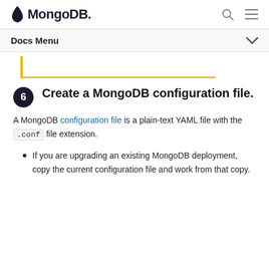MongoDB
Docs Menu
6. Create a MongoDB configuration file.
A MongoDB configuration file is a plain-text YAML file with the .conf file extension.
If you are upgrading an existing MongoDB deployment, copy the current configuration file and work from that copy.